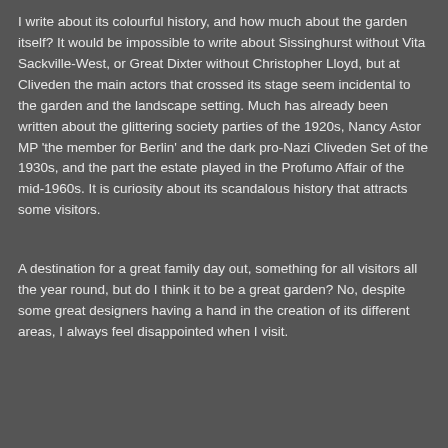I write about its colourful history, and how much about the garden itself? It would be impossible to write about Sissinghurst without Vita Sackville-West, or Great Dixter without Christopher Lloyd, but at Cliveden the main actors that crossed its stage seem incidental to the garden and the landscape setting. Much has already been written about the glittering society parties of the 1920s, Nancy Astor MP 'the member for Berlin' and the dark pro-Nazi Cliveden Set of the 1930s, and the part the estate played in the Profumo Affair of the mid-1960s. It is curiosity about its scandalous history that attracts some visitors.
A destination for a great family day out, something for all visitors all the year round, but do I think it to be a great garden? No, despite some great designers having a hand in the creation of its different areas, I always feel disappointed when I visit.